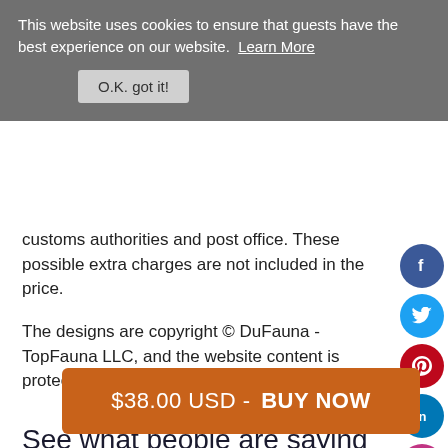This website uses cookies to ensure that guests have the best experience on our website. Learn More
O.K. got it!
customs authorities and post office. These possible extra charges are not included in the price.
The designs are copyright © DuFauna - TopFauna LLC, and the website content is protected and registered at DMCA.com.
[Figure (other): Social media icons: Facebook, Twitter, Pinterest, LinkedIn, Instagram]
See what people are saying about us
$38.00 USD  -  BUY NOW